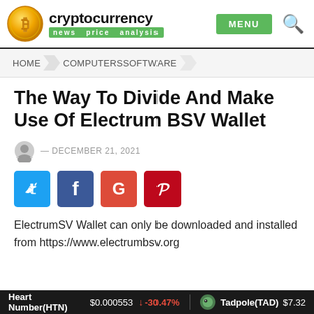cryptocurrency news price analysis | MENU
HOME > COMPUTERSSOFTWARE
The Way To Divide And Make Use Of Electrum BSV Wallet
— DECEMBER 21, 2021
[Figure (other): Social share buttons: Twitter, Facebook, Google+, Pinterest]
ElectrumSV Wallet can only be downloaded and installed from https://www.electrumbsv.org
Heart Number(HTN) $0.000553 ↓ -30.47% | Tadpole(TAD) $7.32